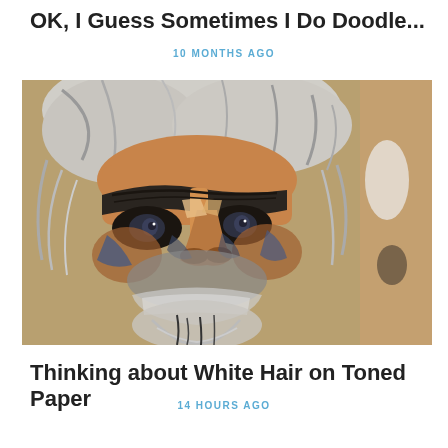OK, I Guess Sometimes I Do Doodle...
10 MONTHS AGO
[Figure (illustration): A painted portrait of an elderly man with wild white hair and beard, rendered in oils or gouache on toned paper. The face is expressive with strong shadows in dark blue and black, warm ochre and orange flesh tones on the forehead and nose. The background is a tan cardboard color visible especially on the right side.]
Thinking about White Hair on Toned Paper
14 HOURS AGO